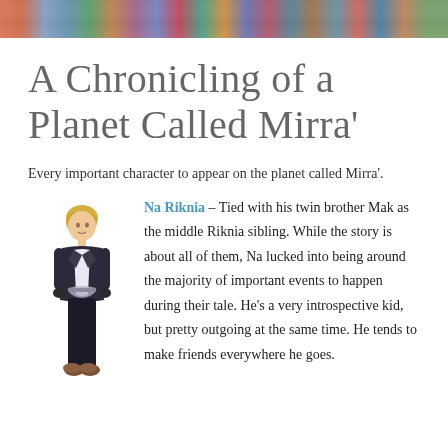[Figure (illustration): Banner image at top of page showing a colorful group of illustrated characters]
A Chronicling of a Planet Called Mirra'
Every important character to appear on the planet called Mirra'.
[Figure (illustration): Full-body illustration of Na Riknia, a young male character with blonde hair wearing a dark jacket, white shirt, and dark pants with brown shoes]
Na Riknia – Tied with his twin brother Mak as the middle Riknia sibling. While the story is about all of them, Na lucked into being around the majority of important events to happen during their tale. He's a very introspective kid, but pretty outgoing at the same time. He tends to make friends everywhere he goes.